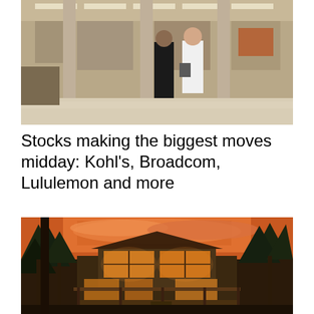[Figure (photo): Interior view of a Kohl's department store entrance with two shoppers walking outside, showing store interior with racks and ceiling lights visible through glass facade]
Stocks making the biggest moves midday: Kohl’s, Broadcom, Lululemon and more
[Figure (photo): Luxury mountain cabin home with large glass windows glowing with warm interior light at dusk, surrounded by tall pine trees with dramatic orange and pink sunset sky]